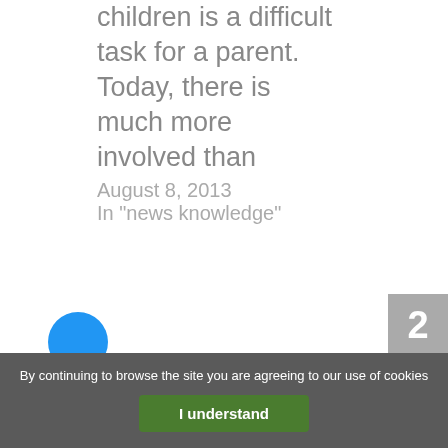children is a difficult task for a parent. Today, there is much more involved than
August 8, 2013
In "news knowledge"
2
By continuing to browse the site you are agreeing to our use of cookies
I understand